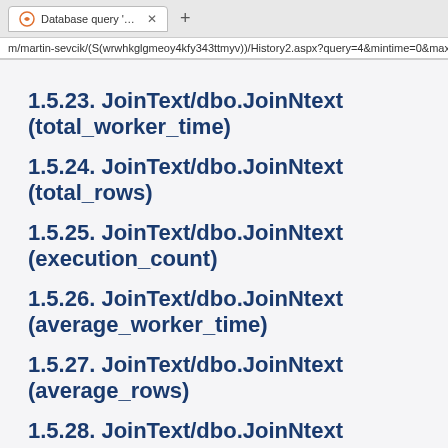[Figure (screenshot): Browser tab bar showing 'Database query Settings / Setti...' tab with close button and new tab plus button]
m/martin-sevcik/(S(wrwhkglgmeoy4kfy343ttmyv))/History2.aspx?query=4&mintime=0&maxrows=100
1.5.23. JoinText/dbo.JoinNtext (total_worker_time)
1.5.24. JoinText/dbo.JoinNtext (total_rows)
1.5.25. JoinText/dbo.JoinNtext (execution_count)
1.5.26. JoinText/dbo.JoinNtext (average_worker_time)
1.5.27. JoinText/dbo.JoinNtext (average_rows)
1.5.28. JoinText/dbo.JoinNtext